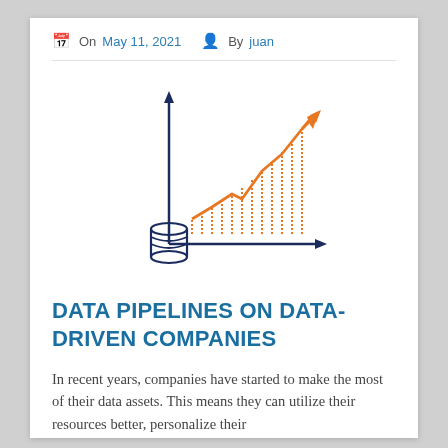On May 11, 2021  By juan
[Figure (illustration): Line chart illustration with orange dotted bars growing upward and an orange trend arrow going up-right, navy blue axes with arrow tips, and a navy blue database/cylinder stack icon at the bottom-left.]
DATA PIPELINES ON DATA-DRIVEN COMPANIES
In recent years, companies have started to make the most of their data assets. This means they can utilize their resources better, personalize their